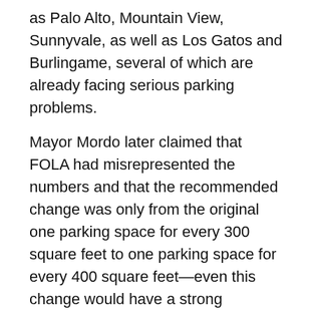as Palo Alto, Mountain View, Sunnyvale, as well as Los Gatos and Burlingame, several of which are already facing serious parking problems.
Mayor Mordo later claimed that FOLA had misrepresented the numbers and that the recommended change was only from the original one parking space for every 300 square feet to one parking space for every 400 square feet—even this change would have a strong negative impact on parking. However, he forgot, ignored, or was unaware of another provision in the Parking Committee recommendations that further reduced the requirements for all properties in the downtown triangle by 20%. Once that further reduction is taken into account, the requirement is one space for every 500 square feet, just as represented by the FOLA board member.
It appears that Mayor Mordo is so beholden to the